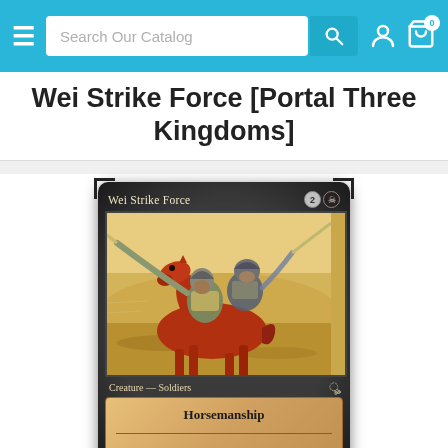Search Our Catalog
Wei Strike Force [Portal Three Kingdoms]
[Figure (photo): Magic: The Gathering card 'Wei Strike Force' from Portal Three Kingdoms set. Black-bordered card showing two armored warriors on a red/brown horse charging forward. Card text shows 'Creature — Soldiers' type line and 'Horsemanship' ability. Mana cost is 2 and black.]